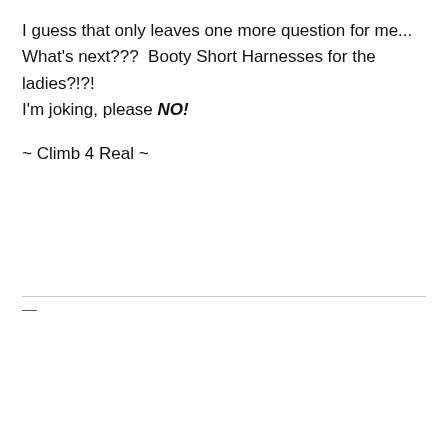I guess that only leaves one more question for me... What's next???  Booty Short Harnesses for the ladies?!?! I'm joking, please NO!
~ Climb 4 Real ~
Privacy & Cookies: This site uses cookies. By continuing to use this website, you agree to their use.
To find out more, including how to control cookies, see here: Cookie Policy